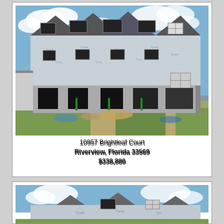[Figure (photo): Construction photo of a multi-unit townhouse building under construction, covered in Tyvek house wrap, with multiple garage openings and windows partially installed, blue sky with clouds in background, dirt/grass in foreground]
10957 Brightleaf Court
Riverview, Florida 33569
$338,880
[Figure (photo): Partial view of another construction photo showing similar townhouse building under construction with Tyvek house wrap and blue sky, cropped at bottom of page]